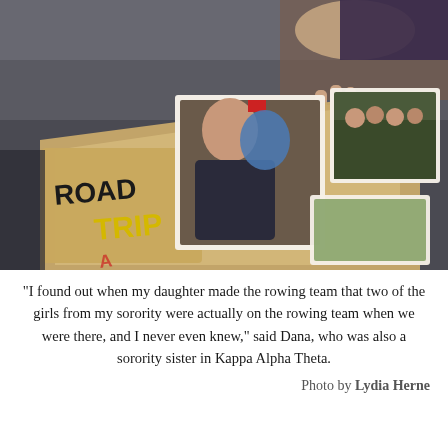[Figure (photo): A hand holding open a scrapbook or photo album labeled 'ROAD TRIP' in black and yellow letters. The album contains photographs of young women, and the scene is photographed in a dim indoor setting with a blurred background.]
"I found out when my daughter made the rowing team that two of the girls from my sorority were actually on the rowing team when we were there, and I never even knew," said Dana, who was also a sorority sister in Kappa Alpha Theta.
Photo by Lydia Herne